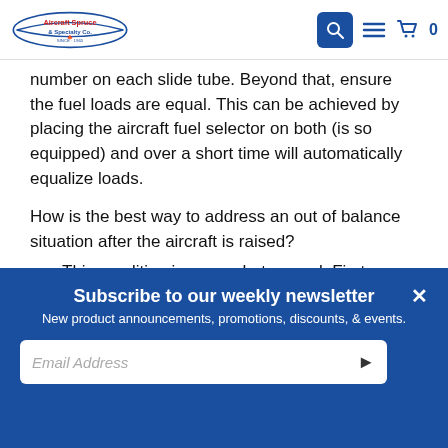Aircraft Spruce & Specialty Co. | Search | Menu | Cart 0
number on each slide tube. Beyond that, ensure the fuel loads are equal. This can be achieved by placing the aircraft fuel selector on both (is so equipped) and over a short time will automatically equalize loads.
How is the best way to address an out of balance situation after the aircraft is raised?
This condition is somewhat normal. First, ensure the jack is centered under the aircraft and both slide tubes are equally extended. Adjust the jacking until...
Subscribe to our weekly newsletter
New product announcements, promotions, discounts, & events.
Email Address